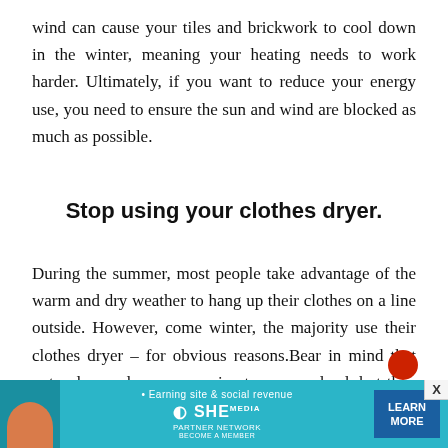wind can cause your tiles and brickwork to cool down in the winter, meaning your heating needs to work harder. Ultimately, if you want to reduce your energy use, you need to ensure the sun and wind are blocked as much as possible.
Stop using your clothes dryer.
During the summer, most people take advantage of the warm and dry weather to hang up their clothes on a line outside. However, come winter, the majority use their clothes dryer – for obvious reasons.Bear in mind that not only are dryers expensive to use per load, but they also cont...
[Figure (other): Advertisement banner for SHE Media Partner Network: 'Earning site & social revenue' with LEARN MORE button]